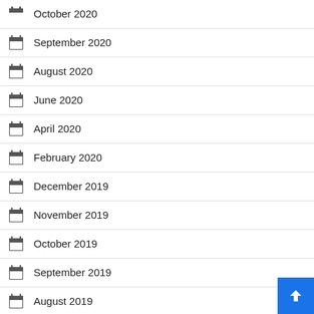October 2020
September 2020
August 2020
June 2020
April 2020
February 2020
December 2019
November 2019
October 2019
September 2019
August 2019
July 2019
June 2019